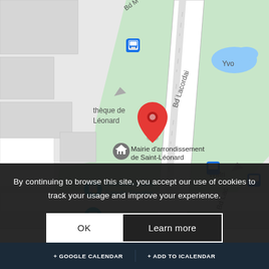[Figure (map): Google Maps view showing Bd Lacordaire street area in Saint-Léonard, Montreal. Features a red location pin marker, landmarks including Mairie d'arrondissement de Saint-Léonard, Mirella and Lino Saputo Theatre, Centre Leonardo Da Vinci, bus stop icons, and green park areas with a blue pond labeled Yvo...]
By continuing to browse this site, you accept our use of cookies to track your usage and improve your experience.
OK
Learn more
+ GOOGLE CALENDAR
+ ADD TO ICALENDAR